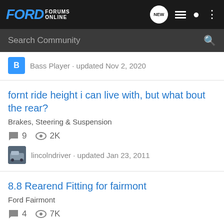FORD FORUMS ONLINE
Search Community
Bass Player · updated Nov 2, 2020
fornt ride height i can live with, but what bout the rear?
Brakes, Steering & Suspension
9  2K
lincolndriver · updated Jan 23, 2011
8.8 Rearend Fitting for fairmont
Ford Fairmont
4  7K
Geo · updated Apr 17, 2011